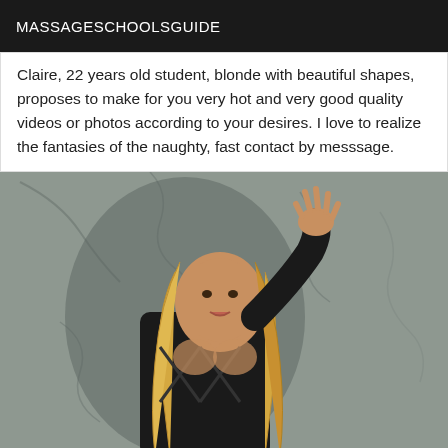MASSAGESCHOOLSGUIDE
Claire, 22 years old student, blonde with beautiful shapes, proposes to make for you very hot and very good quality videos or photos according to your desires. I love to realize the fantasies of the naughty, fast contact by messsage.
[Figure (photo): A blonde woman wearing a black outfit posing against a cracked stone wall, with one hand raised against the wall]